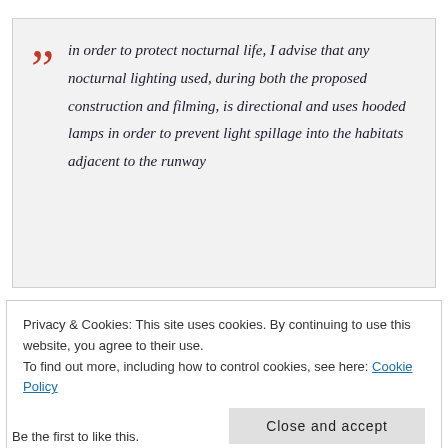“ in order to protect nocturnal life, I advise that any nocturnal lighting used, during both the proposed construction and filming, is directional and uses hooded lamps in order to prevent light spillage into the habitats adjacent to the runway
Privacy & Cookies: This site uses cookies. By continuing to use this website, you agree to their use. To find out more, including how to control cookies, see here: Cookie Policy
Be the first to like this.